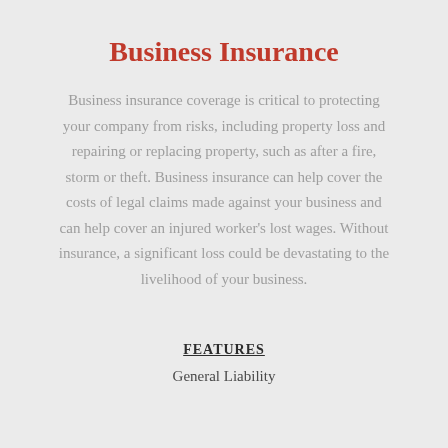Business Insurance
Business insurance coverage is critical to protecting your company from risks, including property loss and repairing or replacing property, such as after a fire, storm or theft. Business insurance can help cover the costs of legal claims made against your business and can help cover an injured worker's lost wages. Without insurance, a significant loss could be devastating to the livelihood of your business.
FEATURES
General Liability